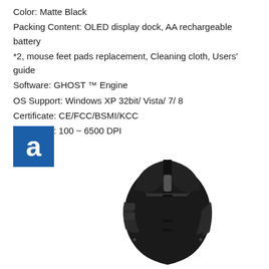Color: Matte Black
Packing Content: OLED display dock, AA rechargeable battery *2, mouse feet pads replacement, Cleaning cloth, Users' guide
Software: GHOST ™ Engine
OS Support: Windows XP 32bit/ Vista/ 7/ 8
Certificate: CE/FCC/BSMI/KCC
Sensitivity: 100 ~ 6500 DPI
[Figure (logo): Logo with letter 'a' in white on blue square background]
[Figure (photo): Top-down view of a matte black gaming mouse with multiple buttons and scroll wheel]